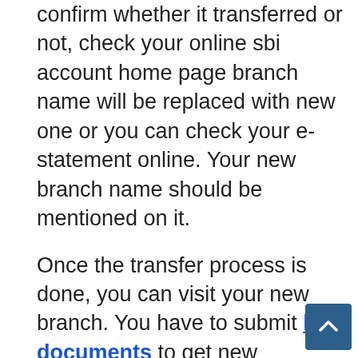confirm whether it transferred or not, check your online sbi account home page branch name will be replaced with new one or you can check your e-statement online. Your new branch name should be mentioned on it.
Once the transfer process is done, you can visit your new branch. You have to submit kyc documents to get new passbook and other banking related documents.
Offline Method:
If you want to do your account transfer process offline then you have to visit your old branch and ask the manager for 'Account Transfer Request Form'. You have to fill this